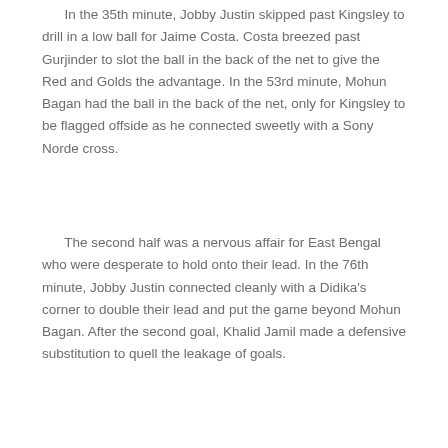In the 35th minute, Jobby Justin skipped past Kingsley to drill in a low ball for Jaime Costa. Costa breezed past Gurjinder to slot the ball in the back of the net to give the Red and Golds the advantage. In the 53rd minute, Mohun Bagan had the ball in the back of the net, only for Kingsley to be flagged offside as he connected sweetly with a Sony Norde cross.
The second half was a nervous affair for East Bengal who were desperate to hold onto their lead. In the 76th minute, Jobby Justin connected cleanly with a Didika's corner to double their lead and put the game beyond Mohun Bagan. After the second goal, Khalid Jamil made a defensive substitution to quell the leakage of goals.